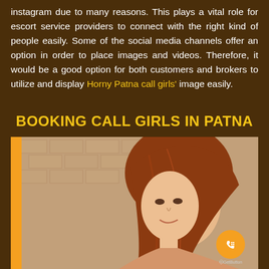instagram due to many reasons. This plays a vital role for escort service providers to connect with the right kind of people easily. Some of the social media channels offer an option in order to place images and videos. Therefore, it would be a good option for both customers and brokers to utilize and display Horny Patna call girls' image easily.
BOOKING CALL GIRLS IN PATNA
[Figure (photo): A young woman with auburn/red hair, posed against a brick wall background, smiling slightly at the camera. Orange vertical bar accent on the left edge of the photo.]